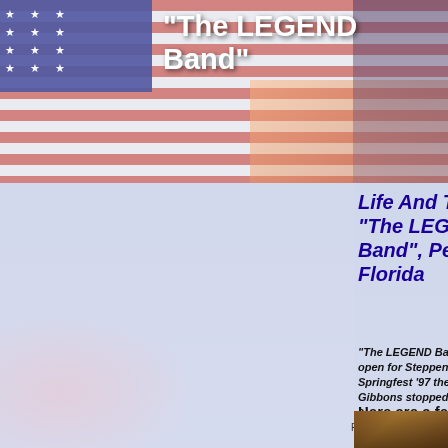[Figure (photo): American flag background with blue field and stars on left, red and white stripes, with hands visible on right side — website header banner]
"The LEGEND Band"
Life And Times Of "The LEGEND Band", Pensacola, Florida
Home
The LEGEND Band Current Members
The LEGEND Band Musicians
Moments In History
For Booking Contact Us
"The LEGEND Band" has been blessed with the opportunity to open for Steppenwolf at their 25th Anniversary. Also during Springfest '97 they were opening acts for "The Animals". Billy Gibbons stopped by one night as the were playing a house gig a
Here are a few of those captured m
Pensacola Musicians
[Figure (photo): Bottom strip showing wooden/indoor venue ceiling or interior]